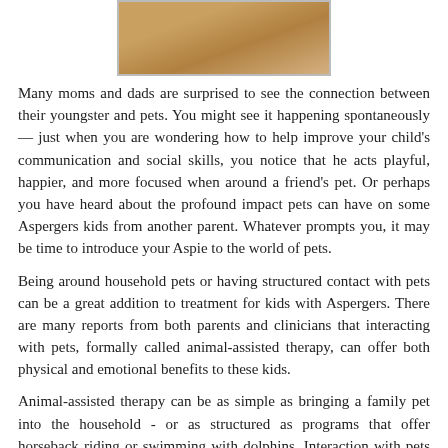[Figure (photo): Photo of a golden/brown dog lying down, close-up view]
Many moms and dads are surprised to see the connection between their youngster and pets. You might see it happening spontaneously — just when you are wondering how to help improve your child's communication and social skills, you notice that he acts playful, happier, and more focused when around a friend's pet. Or perhaps you have heard about the profound impact pets can have on some Aspergers kids from another parent. Whatever prompts you, it may be time to introduce your Aspie to the world of pets.
Being around household pets or having structured contact with pets can be a great addition to treatment for kids with Aspergers. There are many reports from both parents and clinicians that interacting with pets, formally called animal-assisted therapy, can offer both physical and emotional benefits to these kids.
Animal-assisted therapy can be as simple as bringing a family pet into the household - or as structured as programs that offer horseback riding or swimming with dolphins. Interaction with pets can help Aspergers kids become more physically developed and